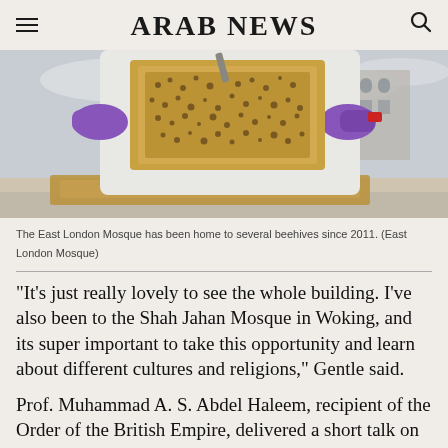ARAB NEWS
[Figure (photo): A beekeeper in white protective suit and purple gloves holds up a honeycomb frame covered in bees, with a building and cloudy sky visible in the background.]
The East London Mosque has been home to several beehives since 2011. (East London Mosque)
“It’s just really lovely to see the whole building. I’ve also been to the Shah Jahan Mosque in Woking, and its super important to take this opportunity and learn about different cultures and religions,” Gentle said.
Prof. Muhammad A. S. Abdel Haleem, recipient of the Order of the British Empire, delivered a short talk on the Qur’en which he has translated...